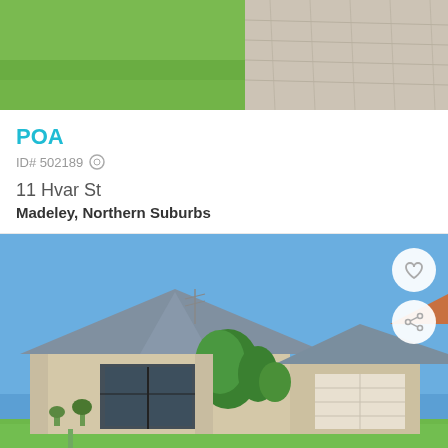[Figure (photo): Top strip showing grass on left and paving/driveway on right]
POA
ID# 502189
11 Hvar St
Madeley, Northern Suburbs
[Figure (photo): Exterior photo of a single-storey Australian suburban house with grey/blue tiled roof, cream brick walls, large glass sliding door, green trees, double garage, and green lawn in front under blue sky]